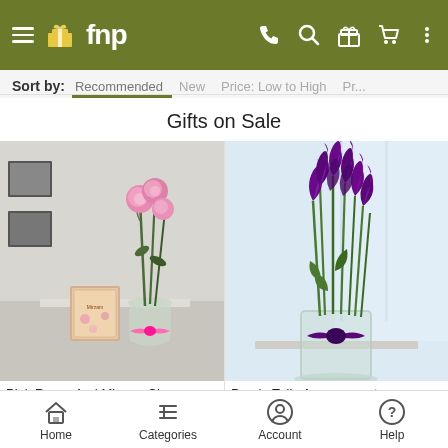fnp - navigation bar with menu, phone, search, gift, cart, more icons
Sort by: Recommended  New  Price: Low to High  Pr...
Gifts on Sale
[Figure (photo): Pink roses in a glass vase with a pink ribbon bow, accompanied by a Mirzam chocolate gift box on a white surface]
[Figure (photo): Purple tulip arrangement in a clear glass cylinder vase with a purple ribbon bow, light background]
Pink Roses And Mirzam Choco...
Purple Tulip Arrangement
Home  Categories  Account  Help